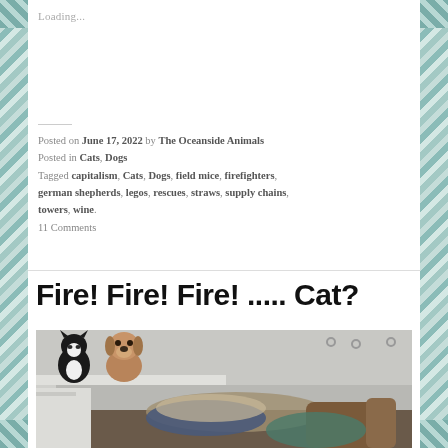Loading...
Posted on June 17, 2022 by The Oceanside Animals
Posted in Cats, Dogs
Tagged capitalism, Cats, Dogs, field mice, firefighters, german shepherds, legos, rescues, straws, supply chains, towers, wine.
11 Comments
Fire! Fire! Fire! ..... Cat?
[Figure (photo): A cat and dog sitting on top of a mantle shelf or high ledge, with a messy pile of items visible below in the room]